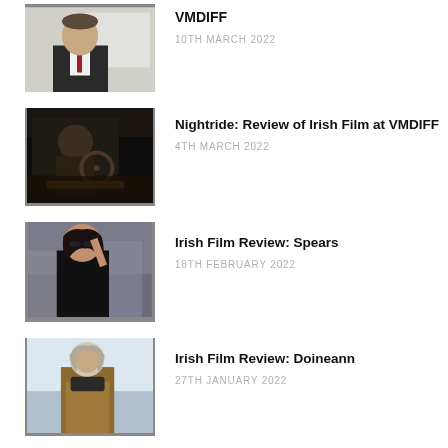[Figure (photo): Man in suit with red tie holding papers]
VMDIFF
10TH MARCH 2022
[Figure (photo): Person driving a car at night, dark scene]
Nightride: Review of Irish Film at VMDIFF
4TH MARCH 2022
[Figure (photo): Woman with dark hair and sunglasses outdoors]
Irish Film Review: Spears
18TH FEBRUARY 2022
[Figure (photo): Older woman with grey hair in coat outdoors near sea]
Irish Film Review: Doineann
27TH JANUARY 2022
[Figure (photo): Dark cinematic still from a film]
Nora: Review of Irish Film at Cork